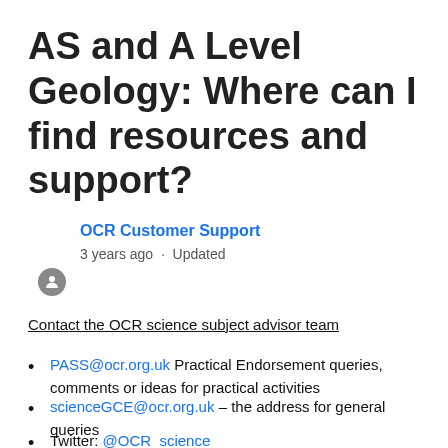AS and A Level Geology: Where can I find resources and support?
OCR Customer Support
3 years ago · Updated
Contact the OCR science subject advisor team
PASS@ocr.org.uk Practical Endorsement queries, comments or ideas for practical activities
scienceGCE@ocr.org.uk – the address for general queries
Twitter: @OCR_science